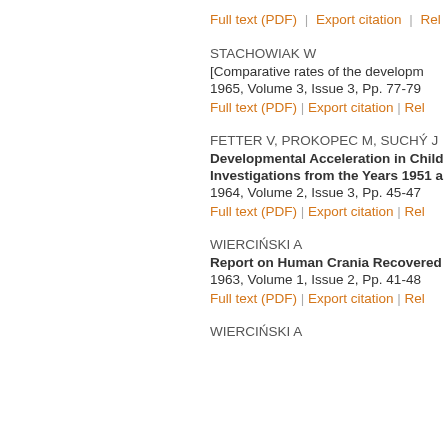Full text (PDF)  |  Export citation  |  Rel...
STACHOWIAK W
[Comparative rates of the developm...
1965, Volume 3, Issue 3, Pp. 77-79
Full text (PDF)  |  Export citation  |  Rel...
FETTER V, PROKOPEC M, SUCHÝ J
Developmental Acceleration in Child... Investigations from the Years 1951 a...
1964, Volume 2, Issue 3, Pp. 45-47
Full text (PDF)  |  Export citation  |  Rel...
WIERCIŃSKI A
Report on Human Crania Recovered...
1963, Volume 1, Issue 2, Pp. 41-48
Full text (PDF)  |  Export citation  |  Rel...
WIERCIŃSKI A